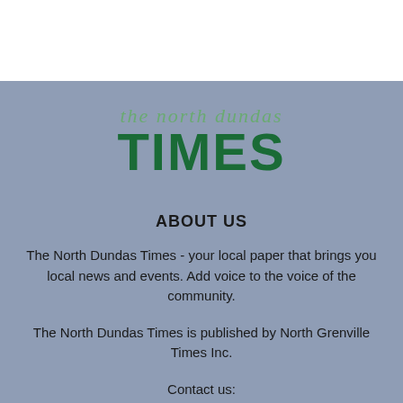[Figure (logo): The North Dundas Times newspaper logo. Top line reads 'the north dundas' in small serif italic green text; below is 'TIMES' in large bold dark green sans-serif text.]
ABOUT US
The North Dundas Times - your local paper that brings you local news and events. Add voice to the voice of the community.
The North Dundas Times is published by North Grenville Times Inc.
Contact us: